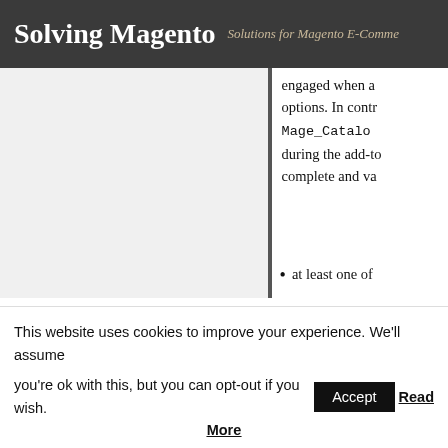Solving Magento — Solutions for Magento E-Commerce
engaged when a options. In contrast, Mage_Catalog during the add-to complete and va
at least one of
all the sub-pro
Actually, the second required_opt
This website uses cookies to improve your experience. We'll assume you're ok with this, but you can opt-out if you wish. Accept Read More